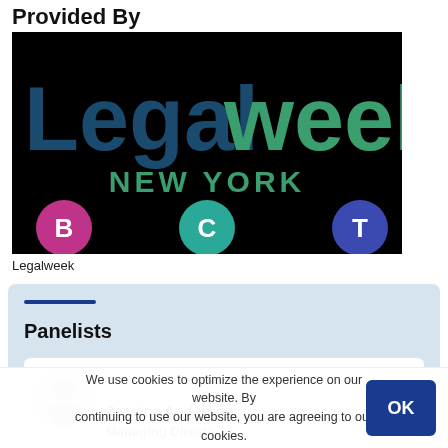Provided By
[Figure (logo): Legalweek New York logo on black background with B, C, T colored circles]
Legalweek
Panelists
Jessica Anderson
Managing Director (partial)
We use cookies to optimize the experience on our website. By continuing to use our website, you are agreeing to our use of cookies.